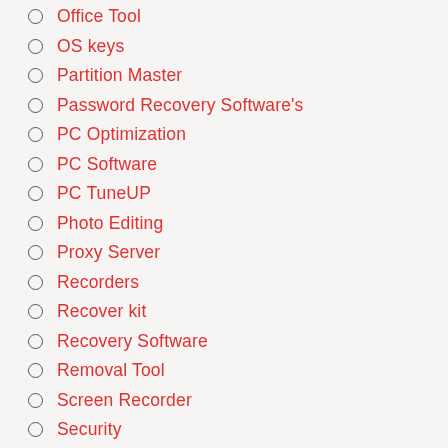Office Tool
OS keys
Partition Master
Password Recovery Software's
PC Optimization
PC Software
PC TuneUP
Photo Editing
Proxy Server
Recorders
Recover kit
Recovery Software
Removal Tool
Screen Recorder
Security
Security Protection